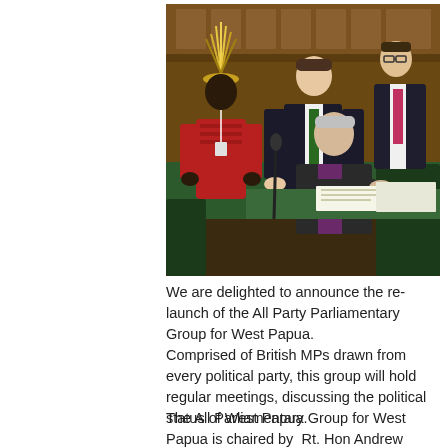[Figure (photo): Four people in what appears to be a parliamentary chamber. One person seated at a desk signing documents, one standing behind leaning in, one person in traditional Papua New Guinea dress with feathered headdress and red patterned shirt standing to the left, and one person in a suit standing in the background.]
We are delighted to announce the re-launch of the All Party Parliamentary Group for West Papua.
Comprised of British MPs drawn from every political party, this group will hold regular meetings, discussing the political status of West Papua.
The All Parliamentary Group for West Papua is chaired by  Rt. Hon Andrew Smith, Labour MP